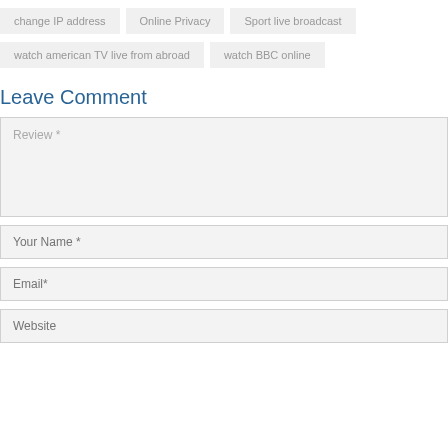change IP address
Online Privacy
Sport live broadcast
watch american TV live from abroad
watch BBC online
Leave Comment
Review *
Your Name *
Email*
Website